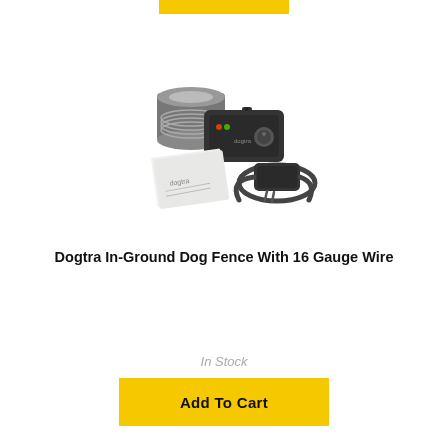[Figure (photo): Product photo of Dogtra in-ground dog fence kit showing a spool of wire, a transmitter/receiver unit, a dog collar receiver, and instruction booklet]
Dogtra In-Ground Dog Fence With 16 Gauge Wire
In Stock
Add To Cart